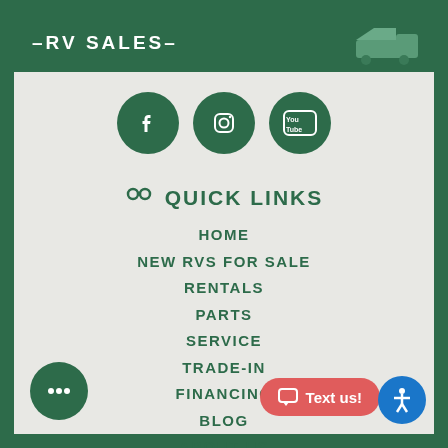[Figure (logo): RV Sales logo with text '-RV SALES-' on dark green background with RV illustration]
[Figure (illustration): Three dark green social media icon circles: Facebook, Instagram, YouTube]
QUICK LINKS
HOME
NEW RVS FOR SALE
RENTALS
PARTS
SERVICE
TRADE-IN
FINANCING
BLOG
ABOUT US
CONTACT US